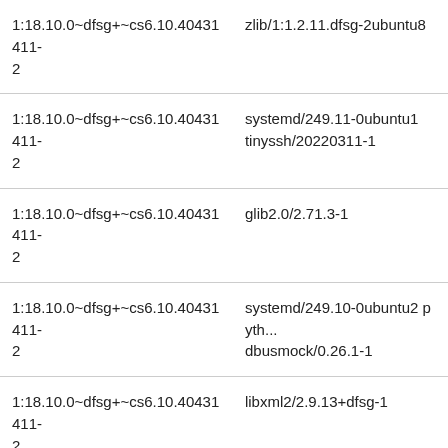| 1:18.10.0~dfsg+~cs6.10.40431411-2 | zlib/1:1.2.11.dfsg-2ubuntu8 |
| 1:18.10.0~dfsg+~cs6.10.40431411-2 | systemd/249.11-0ubuntu1
tinyssh/20220311-1 |
| 1:18.10.0~dfsg+~cs6.10.40431411-2 | glib2.0/2.71.3-1 |
| 1:18.10.0~dfsg+~cs6.10.40431411-2 | systemd/249.10-0ubuntu2 pyth...
dbusmock/0.26.1-1 |
| 1:18.10.0~dfsg+~cs6.10.40431411-2 | libxml2/2.9.13+dfsg-1 |